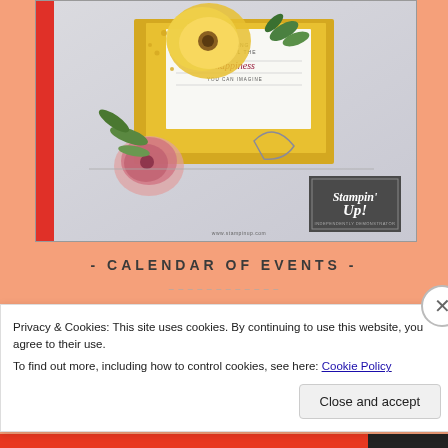[Figure (photo): Stampin' Up! catalog cover photo showing a floral greeting card with yellow and pink flowers, greenery, and the Stampin' Up! logo on a gray background with a red spine bar on the left.]
- CALENDAR OF EVENTS -
Privacy & Cookies: This site uses cookies. By continuing to use this website, you agree to their use.
To find out more, including how to control cookies, see here: Cookie Policy
Close and accept